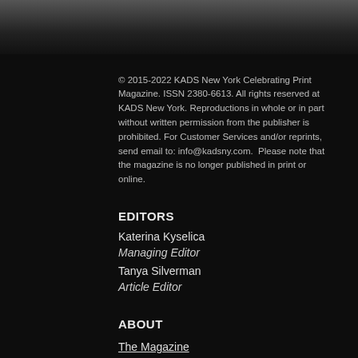[Figure (photo): Dark blurred photo at top of page, gradient from dark grey to black]
© 2015-2022 KADS New York Celebrating Print Magazine. ISSN 2380-6613. All rights reserved at KADS New York. Reproductions in whole or in part without written permission from the publisher is prohibited. For Customer Services and/or reprints, send email to: info@kadsny.com. Please note that the magazine is no longer published in print or online.
EDITORS
Katerina Kyselica
Managing Editor
Tanya Silverman
Article Editor
ABOUT
The Magazine
Contributors
Contact Us
Join our mailing list
[Figure (illustration): Three social media icons: Instagram, Twitter, Facebook — grey circles with white icons]